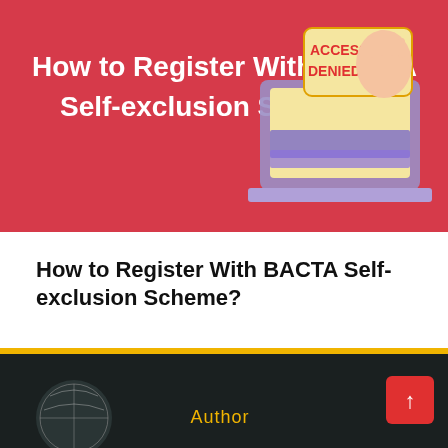[Figure (illustration): Red banner with white bold text 'How to Register With BACTA Self-exclusion Scheme?' on the left, and a cartoon laptop with an 'ACCESS DENIED!' sign and a stop-hand gesture on the right.]
How to Register With BACTA Self-exclusion Scheme?
Jason Farrell    No comments
[Figure (photo): Dark background section with a partial circular/dome-like illustration and 'Author' text in gold, plus a red scroll-to-top button with an upward arrow in the bottom-right corner.]